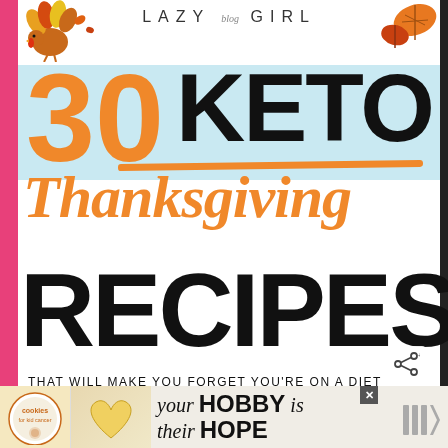[Figure (illustration): Turkey illustration top left and autumn leaf illustration top right]
LAZY blog GIRL
30 KETO Thanksgiving RECIPES
THAT WILL MAKE YOU FORGET YOU'RE ON A DIET
[Figure (photo): Food photos showing Thanksgiving dishes - casserole on left, pie/tart on right]
[Figure (screenshot): WHAT'S NEXT overlay showing Low Carb Keto Sex In a Pan]
[Figure (infographic): Advertisement banner - cookies for kid cancer / your HOBBY is their HOPE]